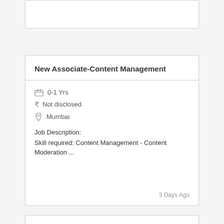New Associate-Content Management
0-1 Yrs
₹ Not disclosed
Mumbai
Job Description:
Skill required: Content Management - Content Moderation ...
3 Days Ago
New Associate-Pharmacovigilance